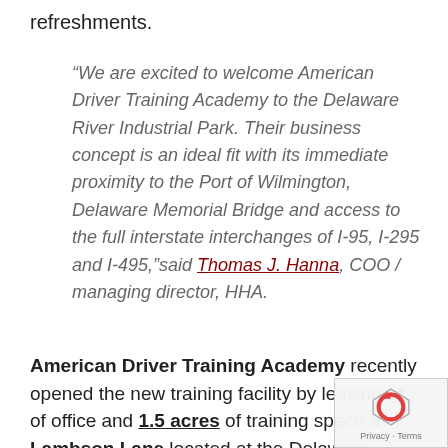refreshments.
“We are excited to welcome American Driver Training Academy to the Delaware River Industrial Park. Their business concept is an ideal fit with its immediate proximity to the Port of Wilmington, Delaware Memorial Bridge and access to the full interstate interchanges of I-95, I-295 and I-495,”said Thomas J. Hanna, COO / managing director, HHA.
American Driver Training Academy recently opened the new training facility by leasing sf of office and 1.5 acres of training space at Lambson Lane located at the Delaware River